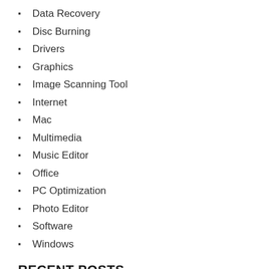Data Recovery
Disc Burning
Drivers
Graphics
Image Scanning Tool
Internet
Mac
Multimedia
Music Editor
Office
PC Optimization
Photo Editor
Software
Windows
RECENT POSTS
Office 2022 Product Key With Crack Latest Download Free